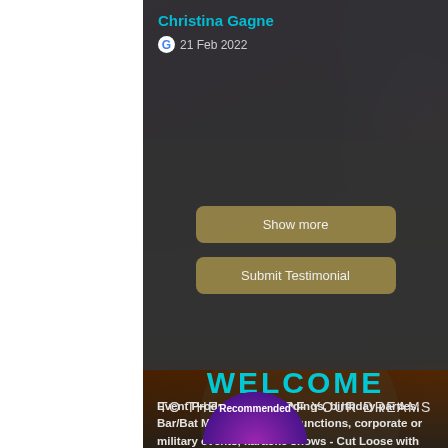Christina Gagne
G 21 Feb 2022
Show more
Submit Testimonial
WELCOME
TO THE EVENT OF YOUR DREAMS
Event Productions  - Weddings, birthday parties, Bar/Bat Mitzvahs, school functions, corporate or military events, karaoke shows - Cut Loose with us!
[Figure (illustration): Purple recommended badge circle at the bottom of the page]